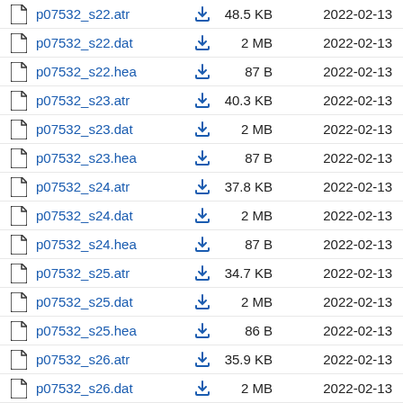p07532_s22.atr  48.5 KB  2022-02-13
p07532_s22.dat  2 MB  2022-02-13
p07532_s22.hea  87 B  2022-02-13
p07532_s23.atr  40.3 KB  2022-02-13
p07532_s23.dat  2 MB  2022-02-13
p07532_s23.hea  87 B  2022-02-13
p07532_s24.atr  37.8 KB  2022-02-13
p07532_s24.dat  2 MB  2022-02-13
p07532_s24.hea  87 B  2022-02-13
p07532_s25.atr  34.7 KB  2022-02-13
p07532_s25.dat  2 MB  2022-02-13
p07532_s25.hea  86 B  2022-02-13
p07532_s26.atr  35.9 KB  2022-02-13
p07532_s26.dat  2 MB  2022-02-13